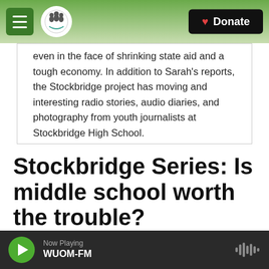Michigan Radio navigation bar with hamburger menu, logo, and Donate button
even in the face of shrinking state aid and a tough economy. In addition to Sarah's reports, the Stockbridge project has moving and interesting radio stories, audio diaries, and photography from youth journalists at Stockbridge High School.
Stockbridge Series: Is middle school worth the trouble?
Michigan Radio
Now Playing WUOM-FM